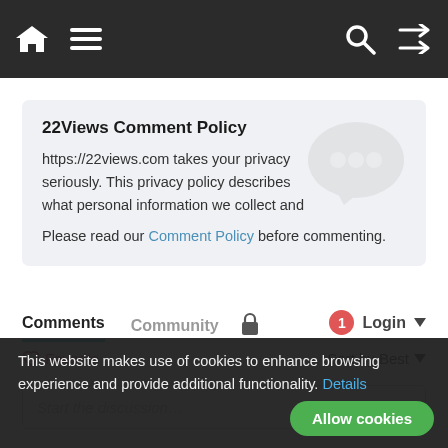Navigation bar with home icon, menu icon, search icon, shuffle icon
22Views Comment Policy
https://22views.com takes your privacy seriously. This privacy policy describes what personal information we collect and
Please read our Comment Policy before commenting.
Comments   Community   [lock]   1   Login
♡ Favorite   Sort by Best
Start the discussion…
This website makes use of cookies to enhance browsing experience and provide additional functionality. Details
Allow cookies